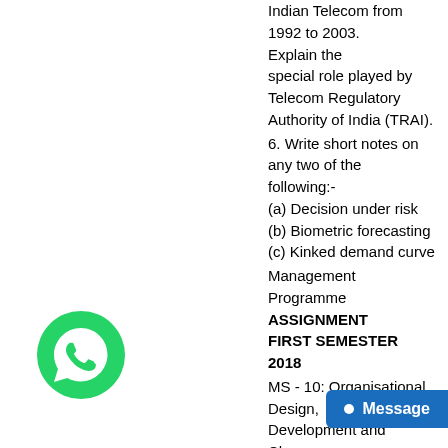Indian Telecom from 1992 to 2003. Explain the special role played by Telecom Regulatory Authority of India (TRAI).
6. Write short notes on any two of the following:-
(a) Decision under risk
(b) Biometric forecasting
(c) Kinked demand curve
Management Programme
ASSIGNMENT
FIRST SEMESTER
2018
MS - 10: Organisational Design, Development and Change
School of Management Studies
INDIRA GANDHI NATIONAL OPEN UNIVERSITY
MAIDAN GARHI, NEW DELHI – 110 068
MS-10
ASSIGNMENT
Course Code : MS - 10
Course Title : Organisational Design, Development and Change
Assignment Code : MS-10/TMA/SEM-